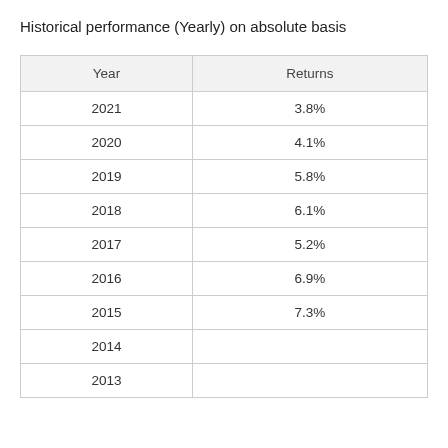Historical performance (Yearly) on absolute basis
| Year | Returns |
| --- | --- |
| 2021 | 3.8% |
| 2020 | 4.1% |
| 2019 | 5.8% |
| 2018 | 6.1% |
| 2017 | 5.2% |
| 2016 | 6.9% |
| 2015 | 7.3% |
| 2014 |  |
| 2013 |  |